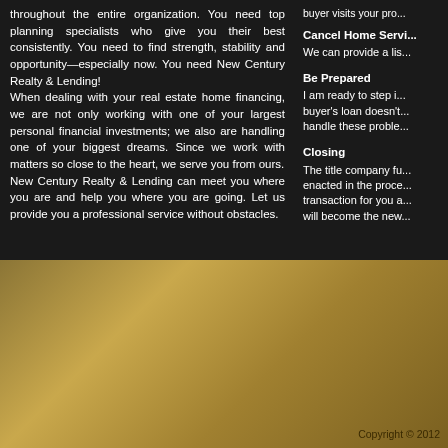throughout the entire organization. You need top planning specialists who give you their best consistently. You need to find strength, stability and opportunity—especially now. You need New Century Realty & Lending! When dealing with your real estate home financing, we are not only working with one of your largest personal financial investments; we also are handling one of your biggest dreams. Since we work with matters so close to the heart, we serve you from ours. New Century Realty & Lending can meet you where you are and help you where you are going. Let us provide you a professional service without obstacles.
buyer visits your pro...
Cancel Home Servi...
We can provide a lis...
Be Prepared
I am ready to step in... buyer's loan doesn't... handle these proble...
Closing
The title company fu... enacted in the proce... transaction for you a... will become the new...
SEARCH PROPERTIES   LISTINGS   BU...   Copyright © 2012